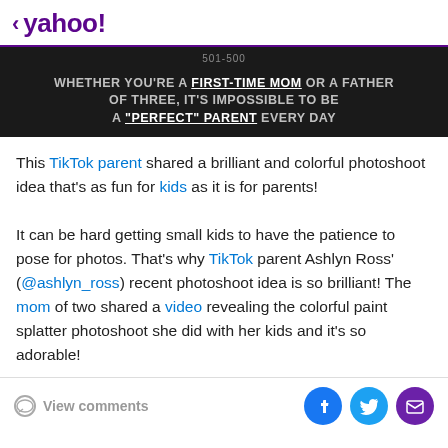< yahoo!
[Figure (screenshot): Dark video banner with text: '501-500 WHETHER YOU'RE A FIRST-TIME MOM OR A FATHER OF THREE, IT'S IMPOSSIBLE TO BE A "PERFECT" PARENT EVERY DAY']
This TikTok parent shared a brilliant and colorful photoshoot idea that's as fun for kids as it is for parents!
It can be hard getting small kids to have the patience to pose for photos. That's why TikTok parent Ashlyn Ross' (@ashlyn_ross) recent photoshoot idea is so brilliant! The mom of two shared a video revealing the colorful paint splatter photoshoot she did with her kids and it's so adorable!
View comments | Facebook | Twitter | Email